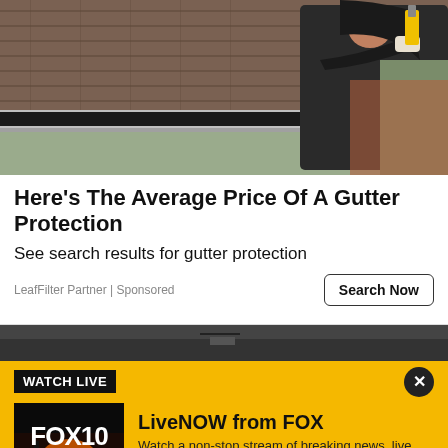[Figure (photo): A man in a black hooded jacket and work gloves using a power tool (drill) while cleaning or installing a rain gutter on a house roof. Brown asphalt shingles visible, suburban background with trees and brick house.]
Here's The Average Price Of A Gutter Protection
See search results for gutter protection
LeafFilter Partner | Sponsored
[Figure (photo): Partial view of a dark-colored roof or surface, second advertisement image strip.]
WATCH LIVE
[Figure (logo): FOX 10 Phoenix logo on dark background with sunset/desert silhouette image.]
LiveNOW from FOX
Watch a non-stop stream of breaking news, live events and stories across the nation.